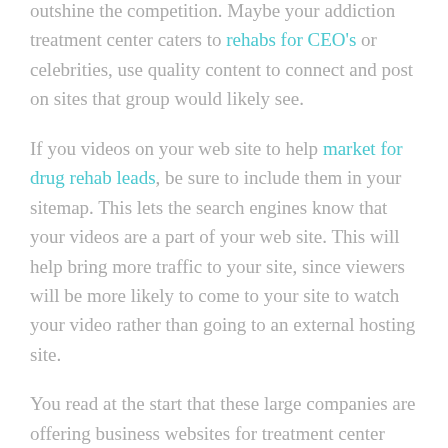outshine the competition. Maybe your addiction treatment center caters to rehabs for CEO's or celebrities, use quality content to connect and post on sites that group would likely see.
If you videos on your web site to help market for drug rehab leads, be sure to include them in your sitemap. This lets the search engines know that your videos are a part of your web site. This will help bring more traffic to your site, since viewers will be more likely to come to your site to watch your video rather than going to an external hosting site.
You read at the start that these large companies are offering business websites for treatment center marketing. After reading these tips, you can choose to do it yourself or hire a professional. Learn more about how to drive more of your own referrals into your treatment center by using Facebook for addiction treatment marketing by clicking on the link.